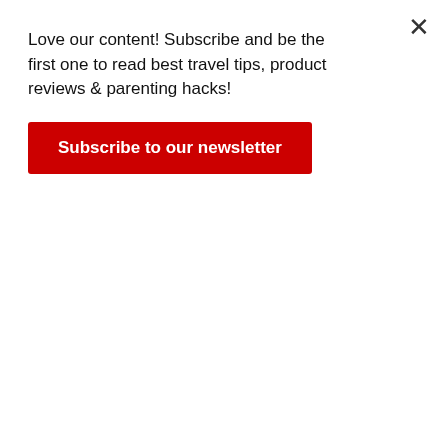Love our content! Subscribe and be the first one to read best travel tips, product reviews & parenting hacks!
Subscribe to our newsletter
experiences! Try it you care, doesn't hurt for sure
Time it right: I have noticed a huge reduction in hair growth if I plan the body hair removal 1 or 2 days before start of periods. It seems to slow down the growth spurt, pushing the next session by 7-10 days. Damn, does that really work! Easy one, try it next time!
Climate matters: Yes, certainly. Haven't you noticed barely any growth when traveling to Europe of Canada? There seems to be less body hair growth in colder places, so next time you are packing your beanie's and long